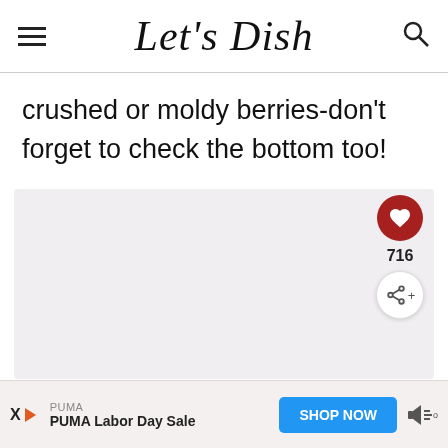Let's Dish
crushed or moldy berries-don't forget to check the bottom too!
[Figure (photo): Empty image placeholder area with light pink/grey background]
716
PUMA — PUMA Labor Day Sale — SHOP NOW